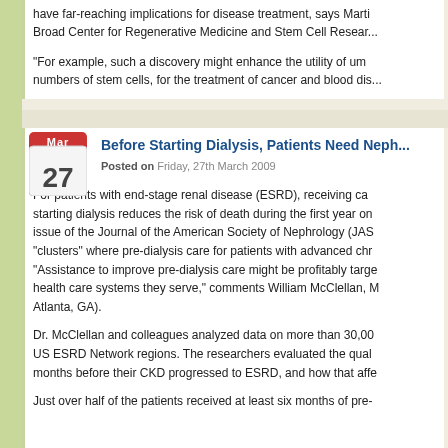have far-reaching implications for disease treatment, says Martin Broad Center for Regenerative Medicine and Stem Cell Resear...
"For example, such a discovery might enhance the utility of umb... numbers of stem cells, for the treatment of cancer and blood dis...
Before Starting Dialysis, Patients Need Neph...
Posted on Friday, 27th March 2009
For patients with end-stage renal disease (ESRD), receiving ca... starting dialysis reduces the risk of death during the first year on... issue of the Journal of the American Society of Nephrology (JAS... "clusters" where pre-dialysis care for patients with advanced chr... "Assistance to improve pre-dialysis care might be profitably targ... health care systems they serve," comments William McClellan, M... Atlanta, GA).
Dr. McClellan and colleagues analyzed data on more than 30,00... US ESRD Network regions. The researchers evaluated the qual... months before their CKD progressed to ESRD, and how that affe...
Just over half of the patients received at least six months of pre-...